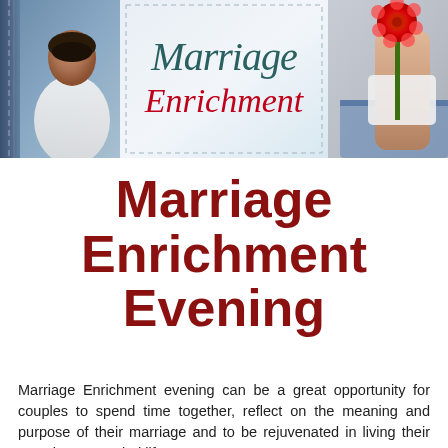[Figure (illustration): Marriage Enrichment banner image with three panels: left panel shows a person in jeans/blue jacket from behind, center panel has light background with 'Marriage Enrichment' in stylized script text (Marriage in teal, Enrichment in red cursive), right panel shows a hand holding a red gerbera daisy flower.]
Marriage Enrichment Evening
Marriage Enrichment evening can be a great opportunity for couples to spend time together, reflect on the meaning and purpose of their marriage and to be rejuvenated in living their vocation to married life.